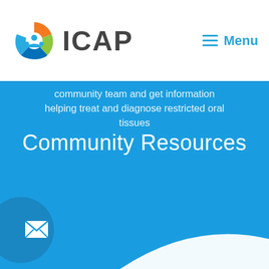[Figure (logo): ICAP logo with colorful circular icon (orange, green, blue segments) and bold 'ICAP' text in dark gray]
[Figure (other): Menu icon (three horizontal lines) with 'Menu' label in blue]
community team and get information helping treat and diagnose restricted oral tissues
Community Resources
[Figure (illustration): White wave/curved shape in bottom right, circular avatar silhouette bottom left with email envelope icon]